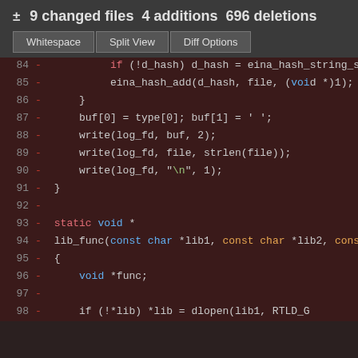± 9 changed files 4 additions 696 deletions
Whitespace  Split View  Diff Options
[Figure (screenshot): Code diff view showing deleted lines 84-98 of a C source file with syntax highlighting on dark background. Lines show code including hash operations, buffer writes, and a lib_func function definition with parameters.]